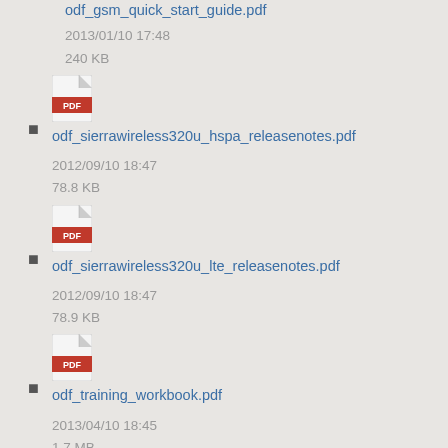odf_gsm_quick_start_guide.pdf
2013/01/10 17:48
240 KB
odf_sierrawireless320u_hspa_releasenotes.pdf
2012/09/10 18:47
78.8 KB
odf_sierrawireless320u_lte_releasenotes.pdf
2012/09/10 18:47
78.9 KB
odf_training_workbook.pdf
2013/04/10 18:45
1.7 MB